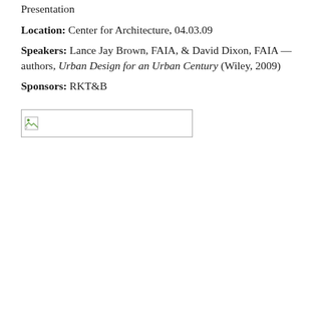Presentation
Location: Center for Architecture, 04.03.09
Speakers: Lance Jay Brown, FAIA, & David Dixon, FAIA — authors, Urban Design for an Urban Century (Wiley, 2009)
Sponsors: RKT&B
[Figure (photo): Broken/missing image placeholder]